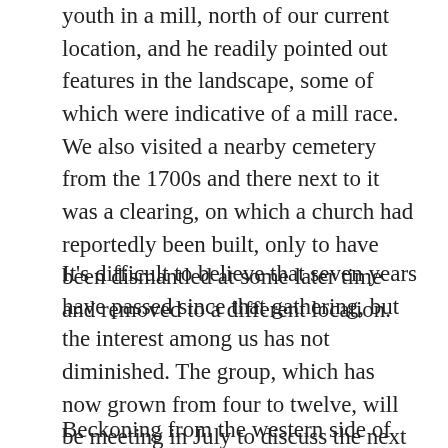youth in a mill, north of our current location, and he readily pointed out features in the landscape, some of which were indicative of a mill race. We also visited a nearby cemetery from the 1700s and there next to it was a clearing, on which a church had reportedly been built, only to have been dismantled at some later time and removed to a different location.
It's difficult to believe that seven years have passed since that gathering, but the interest among us has not diminished. The group, which has now grown from four to twelve, will be meeting in July to discuss the next trip, set for this fall, after the leaves and the critters are gone.
Beckoning from the western side of Doe Bridge, on what has been called the “old stage road”, are